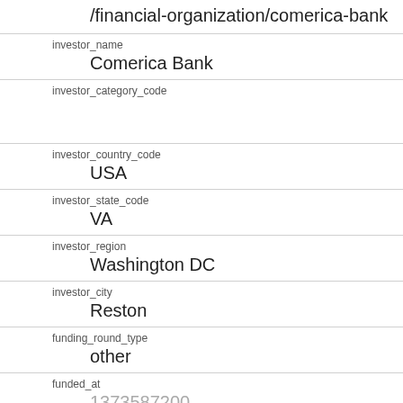/financial-organization/comerica-bank
investor_name
Comerica Bank
investor_category_code
investor_country_code
USA
investor_state_code
VA
investor_region
Washington DC
investor_city
Reston
funding_round_type
other
funded_at
1373587200
funded_year
2013
raised_amount_usd